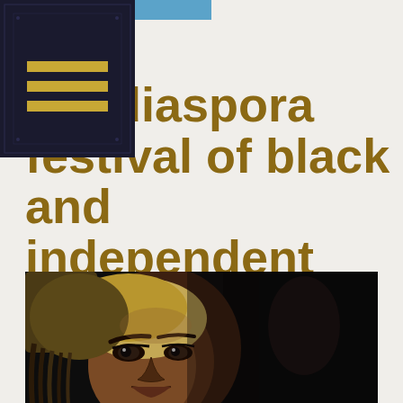the diaspora festival of black and independent film
the diaspora festival of black and independent film
Filed in Diaspora Film Festival, Stone Center News & Events | Posted August 16, 2021
[Figure (photo): Close-up photo of a Black woman with braided hair and a head wrap, looking with an intense expression. Dark, dramatic lighting.]